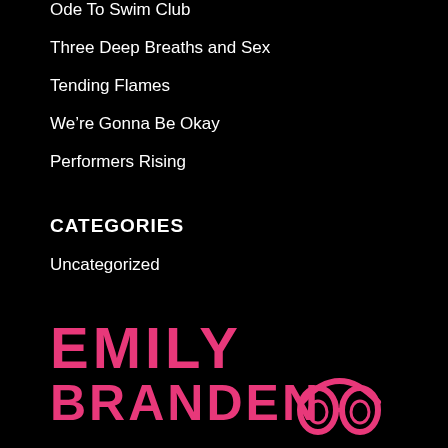Ode To Swim Club
Three Deep Breaths and Sex
Tending Flames
We're Gonna Be Okay
Performers Rising
CATEGORIES
Uncategorized
[Figure (logo): Emily Branden logo with pink stylized text and headphones graphic]